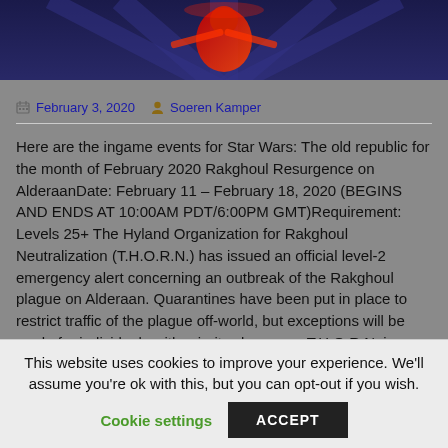[Figure (illustration): Hero banner image showing a Star Wars themed graphic with a neon/glowing red and blue sci-fi character against a dark blue background]
February 3, 2020   Soeren Kamper
Here are the ingame events for Star Wars: The old republic for the month of February 2020 Rakghoul Resurgence on AlderaanDate: February 11 – February 18, 2020 (BEGINS AND ENDS AT 10:00AM PDT/6:00PM GMT)Requirement: Levels 25+ The Hyland Organization for Rakghoul Neutralization (T.H.O.R.N.) has issued an official level-2 emergency alert concerning an outbreak of the Rakghoul plague on Alderaan. Quarantines have been put in place to restrict traffic of the plague off-world, but exceptions will be made for individuals with priority clearance. T.H.O.R.N. is recruiting qualified volunteer
This website uses cookies to improve your experience. We'll assume you're ok with this, but you can opt-out if you wish.
Cookie settings   ACCEPT